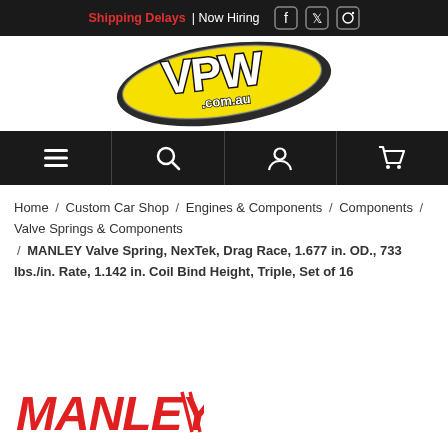Shipping Delays | Now Hiring
[Figure (logo): VPW.com.au logo — oval shaped with yellow center, stylized VPW text in white with black outline, speed lines, vpw.com.au text underneath]
[Figure (infographic): Navigation bar with hamburger menu, search, account, and cart icons on dark background]
Home / Custom Car Shop / Engines & Components / Components / Valve Springs & Components / MANLEY Valve Spring, NexTek, Drag Race, 1.677 in. OD., 733 lbs./in. Rate, 1.142 in. Coil Bind Height, Triple, Set of 16
[Figure (logo): MANLEY logo in red italic bold letters with parallel diagonal stripes to the right]